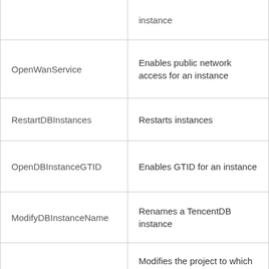| API | Description |
| --- | --- |
|  | instance |
| OpenWanService | Enables public network access for an instance |
| RestartDBInstances | Restarts instances |
| OpenDBInstanceGTID | Enables GTID for an instance |
| ModifyDBInstanceName | Renames a TencentDB instance |
| ModifyDBInstanceProject | Modifies the project to which a TencentDB instance belongs |
| ModifyDBInstanceVipVport | Modifies the IP and port number of a TencentDB instan... |
|  | Queries the character |